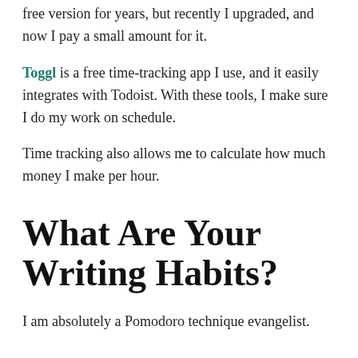free version for years, but recently I upgraded, and now I pay a small amount for it.
Toggl is a free time-tracking app I use, and it easily integrates with Todoist. With these tools, I make sure I do my work on schedule.
Time tracking also allows me to calculate how much money I make per hour.
What Are Your Writing Habits?
I am absolutely a Pomodoro technique evangelist.